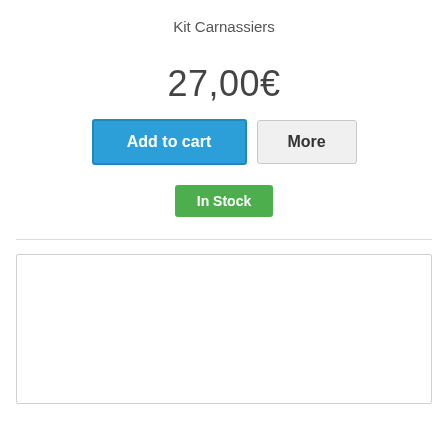Kit Carnassiers
27,00€
Add to cart
More
In Stock
[Figure (other): Empty white box with light gray border, representing a content placeholder or image area]